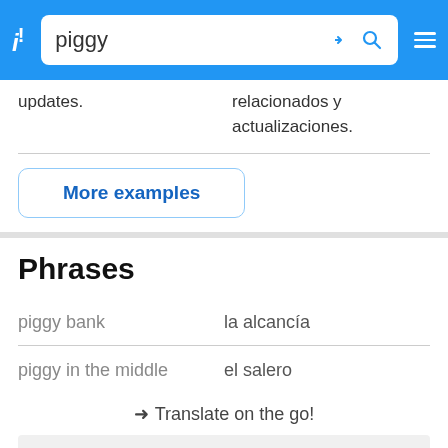[Figure (screenshot): Dictionary app navigation bar with logo 'i!', search box containing 'piggy', chevron and search icons, and hamburger menu on blue background]
updates.
relacionados y actualizaciones.
More examples
Phrases
| English | Spanish |
| --- | --- |
| piggy bank | la alcancía |
| piggy in the middle | el salero |
→ Translate on the go!